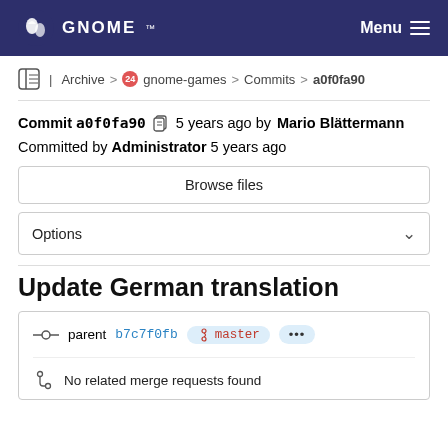GNOME Menu
Archive > gnome-games > Commits > a0f0fa90
Commit a0f0fa90  5 years ago by Mario Blättermann
Committed by Administrator 5 years ago
Browse files
Options
Update German translation
parent b7c7f0fb  master  ...
No related merge requests found